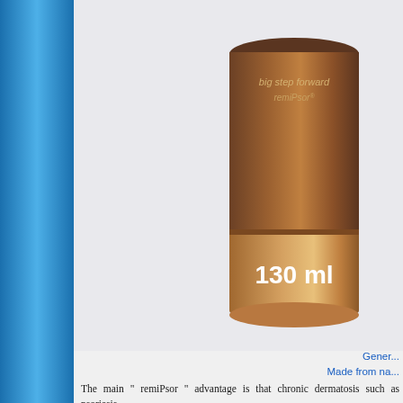[Figure (photo): Product tube of remiPsor cream, 130 ml, brown/tan colored tube with 'big step forward remiPsor' branding on a light grey background]
General
Made from na
The main " remiPsor " advantage is that chronic dermatosis such as psoriasis. " remiPsor " does not contain synthetic a absolutely nontoxic and approved for children remiPsor has antiphlogistic, antipruritic a complications for a long time. " remiPsor " formula is purely natural. It retinol, spike and eucalyptus oil, salic